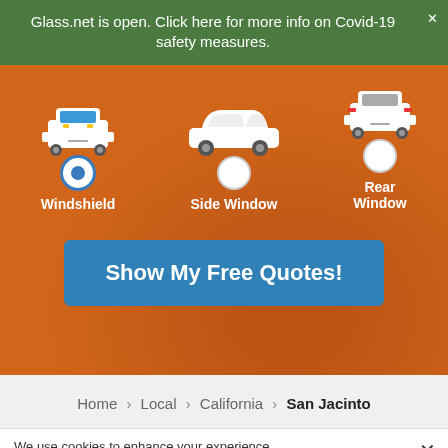Glass.net is open. Click here for more info on Covid-19 safety measures.
[Figure (infographic): Car glass replacement selector with three car icons (front view for Windshield, side view for Side Window, rear view for Rear Window), radio buttons below each, with Windshield selected (blue radio button). Shows a blue 'Show My Free Quotes!' button below.]
Home > Local > California > San Jacinto
We use cookies to enhance your experience.
Cookie settings